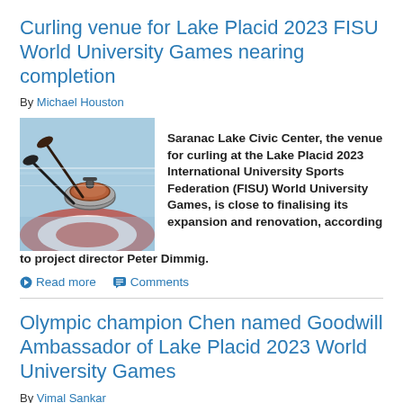Curling venue for Lake Placid 2023 FISU World University Games nearing completion
By Michael Houston
[Figure (photo): Photo of a curling stone being swept on a curling rink with red and blue markings]
Saranac Lake Civic Center, the venue for curling at the Lake Placid 2023 International University Sports Federation (FISU) World University Games, is close to finalising its expansion and renovation, according to project director Peter Dimmig.
Read more   Comments
Olympic champion Chen named Goodwill Ambassador of Lake Placid 2023 World University Games
By Vimal Sankar